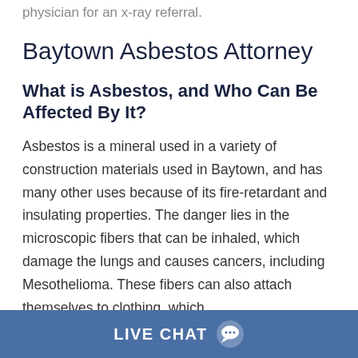physician for an x-ray referral.
Baytown Asbestos Attorney
What is Asbestos, and Who Can Be Affected By It?
Asbestos is a mineral used in a variety of construction materials used in Baytown, and has many other uses because of its fire-retardant and insulating properties. The danger lies in the microscopic fibers that can be inhaled, which damage the lungs and causes cancers, including Mesothelioma. These fibers can also attach themselves to clothing, which
LIVE CHAT